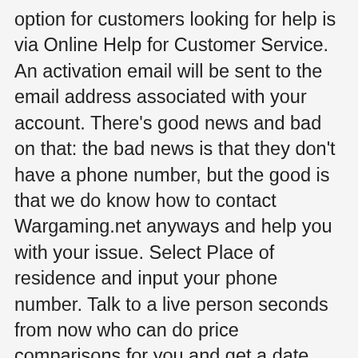option for customers looking for help is via Online Help for Customer Service. An activation email will be sent to the email address associated with your account. There's good news and bad on that: the bad news is that they don't have a phone number, but the good is that we do know how to contact Wargaming.net anyways and help you with your issue. Select Place of residence and input your phone number. Talk to a live person seconds from now who can do price comparisons for you and get a date that works for you! It comprises over 20 offices all over the world Our Development Team is a growing group of accomplished designers, artists and engineers in Chicago, IL, and Baltimore, MD, who play a key role in Wargamingâ€™s global, cross-platform product development strategy. If you made a typo when you entered your phone number, An activation code is sent by SMS to the NEW phone number. And as long as you keep in the right time of destination, this service will be...